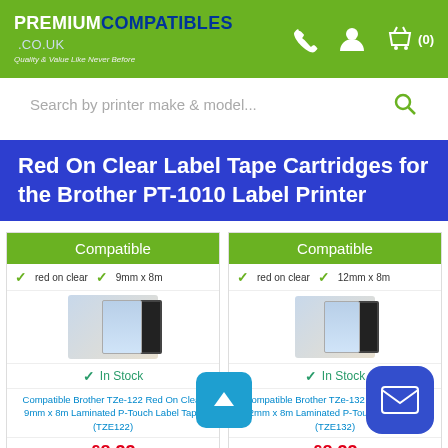PREMIUM COMPATIBLES .CO.UK - Quality & Value Like Never Before
Search by printer make & model...
Red On Clear Label Tape Cartridges for the Brother PT-1010 Label Printer
Compatible | red on clear | 9mm x 8m
[Figure (photo): Compatible Brother TZe-122 product image with box and tape cartridge]
In Stock
Compatible Brother TZe-122 Red On Clear 9mm x 8m Laminated P-Touch Label Tape (TZE122)
£8.33 (£9.99 inc VAT)
Compatible | red on clear | 12mm x 8m
[Figure (photo): Compatible Brother TZe-132 product image with box and tape cartridge]
In Stock
Compatible Brother TZe-132 Red On Clear 12mm x 8m Laminated P-Touch Label Tape (TZE132)
£8.33 (£9.99 inc VAT)